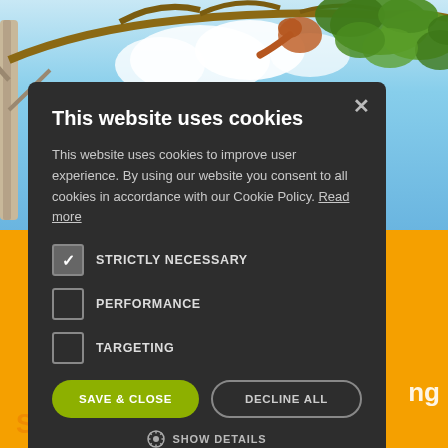[Figure (photo): Background photo of trees with branches and leaves against a blue sky, with an orange section below. A partial text 'Scientific name' appears at the bottom left.]
This website uses cookies
This website uses cookies to improve user experience. By using our website you consent to all cookies in accordance with our Cookie Policy. Read more
STRICTLY NECESSARY (checked)
PERFORMANCE (unchecked)
TARGETING (unchecked)
SAVE & CLOSE | DECLINE ALL
SHOW DETAILS
Scientific name